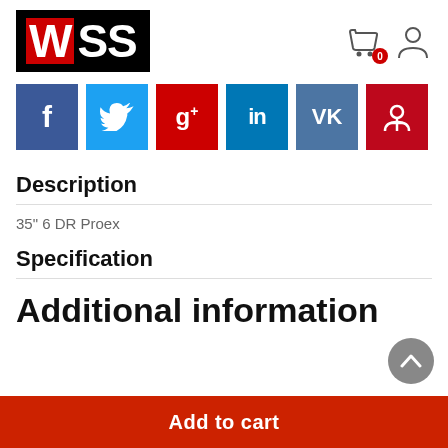[Figure (logo): WSS logo — black background with red W and white SS lettering]
[Figure (infographic): Social media share buttons: Facebook (blue), Twitter (light blue), Google+ (red), LinkedIn (blue), VK (steel blue), Pinterest (dark red)]
Description
35" 6 DR Proex
Specification
Additional information
Add to cart